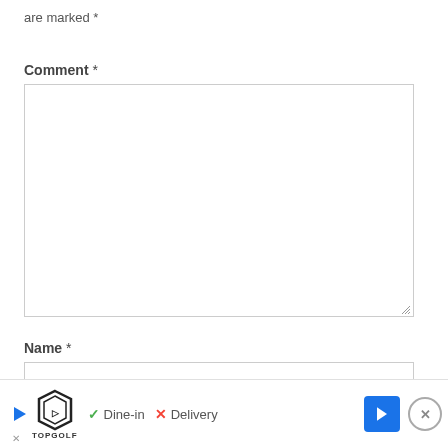are marked *
Comment *
[Figure (screenshot): Empty comment textarea input box with resize handle at bottom right]
Name *
[Figure (screenshot): Empty name text input box]
[Figure (screenshot): Advertisement banner at bottom showing TopGolf logo with Dine-in checkmark and Delivery X icons, navigation arrow button, and close X button]